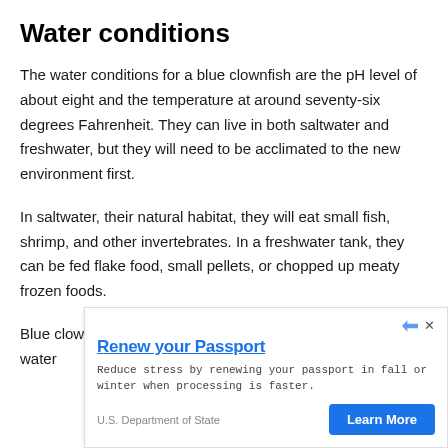Water conditions
The water conditions for a blue clownfish are the pH level of about eight and the temperature at around seventy-six degrees Fahrenheit. They can live in both saltwater and freshwater, but they will need to be acclimated to the new environment first.
In saltwater, their natural habitat, they will eat small fish, shrimp, and other invertebrates. In a freshwater tank, they can be fed flake food, small pellets, or chopped up meaty frozen foods.
Blue clownfish are hardy fish and can handle a variety of water
[Figure (other): Advertisement banner: 'Renew your Passport' by U.S. Department of State with a 'Learn More' button. Body text: 'Reduce stress by renewing your passport in fall or winter when processing is faster.']